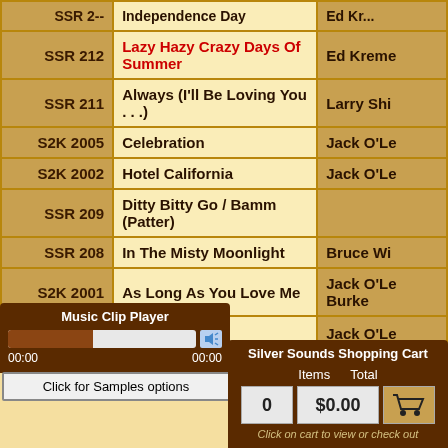| ID | Title | Artist |
| --- | --- | --- |
| SSR 212 | Lazy Hazy Crazy Days Of Summer | Ed Kreme... |
| SSR 211 | Always (I'll Be Loving You . . .) | Larry Shi... |
| S2K 2005 | Celebration | Jack O'Le... |
| S2K 2002 | Hotel California | Jack O'Le... |
| SSR 209 | Ditty Bitty Go / Bamm (Patter) |  |
| SSR 208 | In The Misty Moonlight | Bruce Wi... |
| S2K 2001 | As Long As You Love Me | Jack O'Le... Burke |
| SSR ... | ...The M.T.A. | Jack O'Le... McCue |
[Figure (screenshot): Music Clip Player panel with progress bar and time display (00:00 / 00:00)]
[Figure (screenshot): Silver Sounds Shopping Cart overlay showing Items: 0, Total: $0.00]